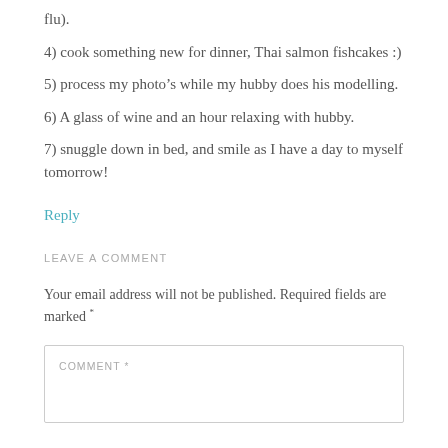flu).
4) cook something new for dinner, Thai salmon fishcakes :)
5) process my photo’s while my hubby does his modelling.
6) A glass of wine and an hour relaxing with hubby.
7) snuggle down in bed, and smile as I have a day to myself tomorrow!
Reply
LEAVE A COMMENT
Your email address will not be published. Required fields are marked *
COMMENT *